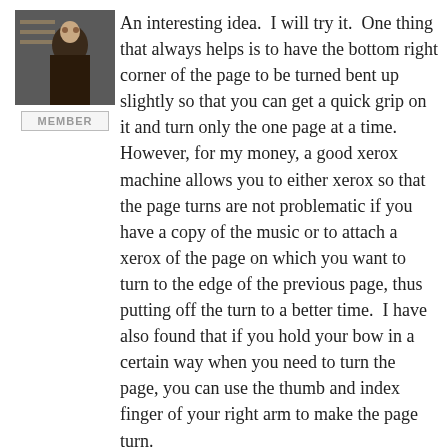[Figure (photo): User avatar photo showing a person, partially visible, dark tones]
MEMBER
An interesting idea.  I will try it.  One thing that always helps is to have the bottom right corner of the page to be turned bent up slightly so that you can get a quick grip on it and turn only the one page at a time.  However, for my money, a good xerox machine allows you to either xerox so that the page turns are not problematic if you have a copy of the music or to attach a xerox of the page on which you want to turn to the edge of the previous page, thus putting off the turn to a better time.  I have also found that if you hold your bow in a certain way when you need to turn the page, you can use the thumb and index finger of your right arm to make the page turn.
[Figure (illustration): Illustrated avatar of Smiley Hsu, a cartoon-style portrait of a smiling person with dark hair, circular crop]
MEMBER
Smiley Hsu
June 14, 2010 at 07:18 PM ·
Thanks Laurie,
I've been practicing your method and it works well